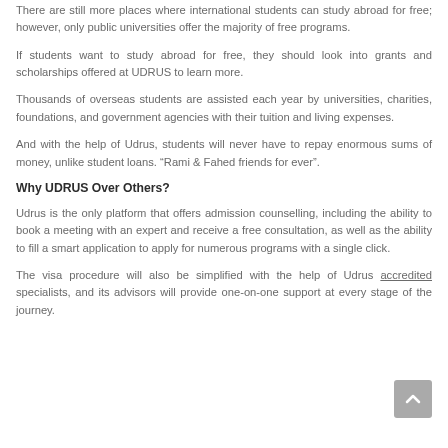There are still more places where international students can study abroad for free; however, only public universities offer the majority of free programs.
If students want to study abroad for free, they should look into grants and scholarships offered at UDRUS to learn more.
Thousands of overseas students are assisted each year by universities, charities, foundations, and government agencies with their tuition and living expenses.
And with the help of Udrus, students will never have to repay enormous sums of money, unlike student loans. “Rami & Fahed friends for ever”.
Why UDRUS Over Others?
Udrus is the only platform that offers admission counselling, including the ability to book a meeting with an expert and receive a free consultation, as well as the ability to fill a smart application to apply for numerous programs with a single click.
The visa procedure will also be simplified with the help of Udrus accredited specialists, and its advisors will provide one-on-one support at every stage of the journey.